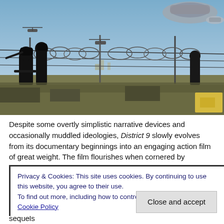[Figure (photo): Scene from District 9 film: silhouettes of soldiers/figures in black near razor wire fence in daylight, with spacecraft/airships visible in the sky above. Helicopters seen in background. The image appears to be a composite showing a military checkpoint or perimeter.]
Despite some overtly simplistic narrative devices and occasionally muddled ideologies, District 9 slowly evolves from its documentary beginnings into an engaging action film of great weight. The film flourishes when cornered by implausibility and
Privacy & Cookies: This site uses cookies. By continuing to use this website, you agree to their use.
To find out more, including how to control cookies, see here: Cookie Policy
Close and accept
larger prophecy that will undoubtably be explored in the sequels